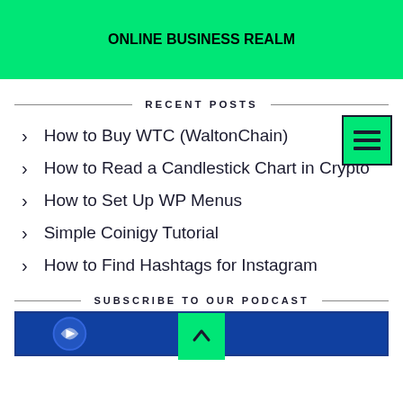ONLINE BUSINESS REALM
RECENT POSTS
How to Buy WTC (WaltonChain)
How to Read a Candlestick Chart in Crypto
How to Set Up WP Menus
Simple Coinigy Tutorial
How to Find Hashtags for Instagram
SUBSCRIBE TO OUR PODCAST
[Figure (screenshot): Podcast subscribe image with blue background and logo]